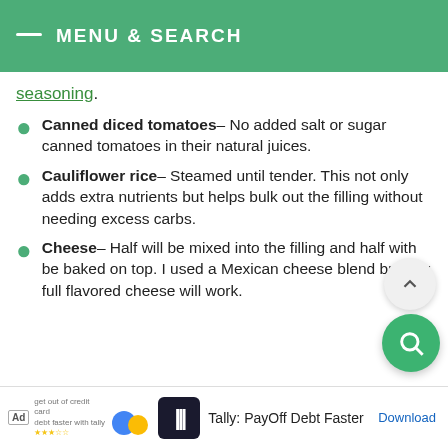MENU & SEARCH
seasoning.
Canned diced tomatoes– No added salt or sugar canned tomatoes in their natural juices.
Cauliflower rice– Steamed until tender. This not only adds extra nutrients but helps bulk out the filling without needing excess carbs.
Cheese– Half will be mixed into the filling and half with be baked on top. I used a Mexican cheese blend but any full flavored cheese will work.
Ad Tally: PayOff Debt Faster Download